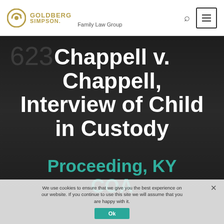GOLDBERG SIMPSON. Family Law Group
Chappell v. Chappell, Interview of Child in Custody Proceeding, KY COA
We use cookies to ensure that we give you the best experience on our website. If you continue to use this site we will assume that you are happy with it.